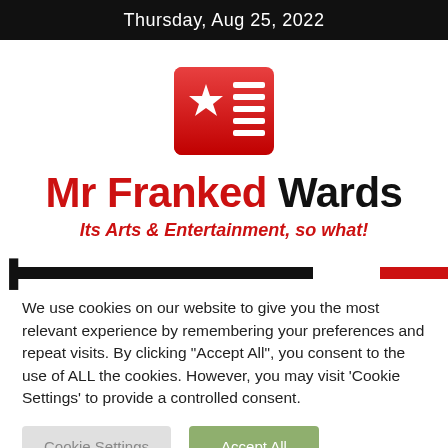Thursday, Aug 25, 2022
[Figure (logo): Mr Franked Wards logo: red/gradient square icon with white star and horizontal lines]
Mr Franked Wards
Its Arts & Entertainment, so what!
We use cookies on our website to give you the most relevant experience by remembering your preferences and repeat visits. By clicking "Accept All", you consent to the use of ALL the cookies. However, you may visit 'Cookie Settings' to provide a controlled consent.